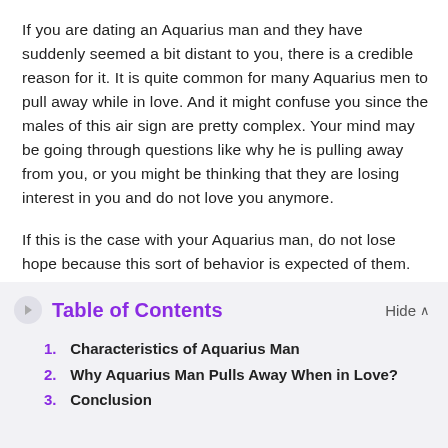If you are dating an Aquarius man and they have suddenly seemed a bit distant to you, there is a credible reason for it. It is quite common for many Aquarius men to pull away while in love. And it might confuse you since the males of this air sign are pretty complex. Your mind may be going through questions like why he is pulling away from you, or you might be thinking that they are losing interest in you and do not love you anymore.
If this is the case with your Aquarius man, do not lose hope because this sort of behavior is expected of them.
Table of Contents
1. Characteristics of Aquarius Man
2. Why Aquarius Man Pulls Away When in Love?
3. Conclusion